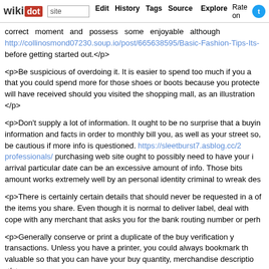wikidot | site | Edit | History | Tags | Source | Explore | Rate on [twitter]
correct moment and possess some enjoyable although http://collinosmond07230.soup.io/post/665638595/Basic-Fashion-Tips-Its before getting started out.</p>
<p>Be suspicious of overdoing it. It is easier to spend too much if you a that you could spend more for those shoes or boots because you protecte will have received should you visited the shopping mall, as an illustration </p>
<p>Don't supply a lot of information. It ought to be no surprise that a buyin information and facts in order to monthly bill you, as well as your street so, be cautious if more info is questioned. https://sleetburst7.asblog.cc/2 professionals/ purchasing web site ought to possibly need to have your i arrival particular date can be an excessive amount of info. Those bits amount works extremely well by an personal identity criminal to wreak des
<p>There is certainly certain details that should never be requested in a of the items you share. Even though it is normal to deliver label, deal with cope with any merchant that asks you for the bank routing number or perh
<p>Generally conserve or print a duplicate of the buy verification y transactions. Unless you have a printer, you could always bookmark th valuable so that you can have your buy quantity, merchandise descriptio </p>
<p> http://www.reddit.com/r/howto/search?q=online+store at on the inter on. It really is much too easy for somebody to just build a storefront on merchandise. Do see go around the retailer's status prior to deciding to g clear of any cons around.</p>